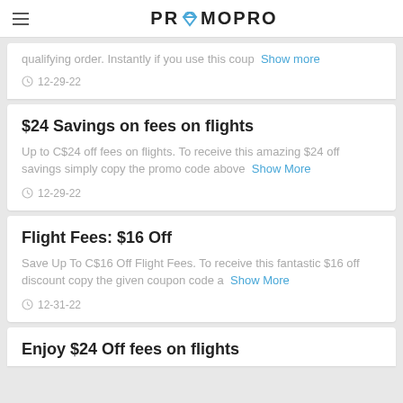PROMOPRO
qualifying order. Instantly if you use this coup… Show more 12-29-22
$24 Savings on fees on flights
Up to C$24 off fees on flights. To receive this amazing $24 off savings simply copy the promo code above Show More 12-29-22
Flight Fees: $16 Off
Save Up To C$16 Off Flight Fees. To receive this fantastic $16 off discount copy the given coupon code a… Show More 12-31-22
Enjoy $24 Off fees on flights